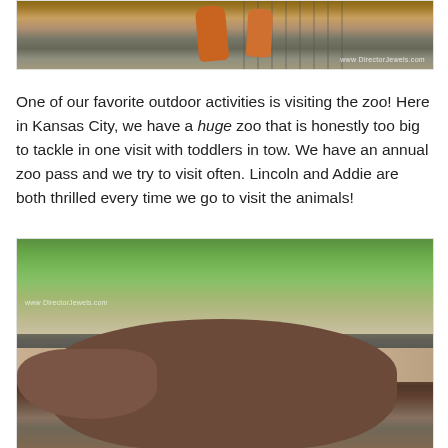[Figure (photo): Photo of deer or antelope animals in a zoo enclosure with cage fencing visible, watermark text 'www.DirectorJewels.com' in lower right]
One of our favorite outdoor activities is visiting the zoo! Here in Kansas City, we have a huge zoo that is honestly too big to tackle in one visit with toddlers in tow. We have an annual zoo pass and we try to visit often. Lincoln and Addie are both thrilled every time we go to visit the animals!
[Figure (photo): Photo of a hippopotamus at a zoo, lying by a rocky-edged pool with green trees and water visible in the background, watermark text 'www.DirectorJewels.com' visible]